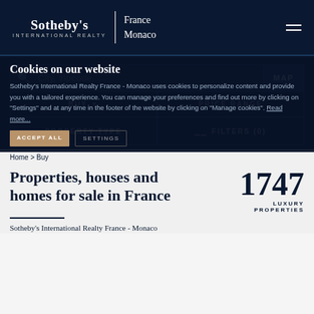Sotheby's International Realty | France Monaco
City, zipcode...
Cookies on our website
BUY
PRICE RANGE
Sotheby's International Realty France - Monaco uses cookies to personalize content and provide you with a tailored experience. You can manage your preferences and find out more by clicking on "Settings" and at any time in the footer of the website by clicking on "Manage cookies". Read more...
PROPERTY TYPE
FILTERS (0)
Home > Buy
Properties, houses and homes for sale in France
1747 LUXURY PROPERTIES
Sotheby's International Realty France - Monaco